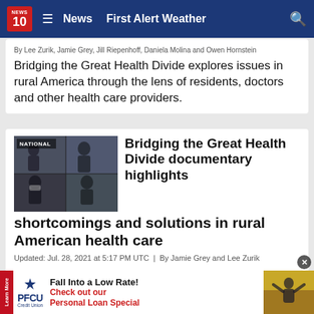NEWS 10 | News  First Alert Weather
By Lee Zurik, Jamie Grey, Jill Riepenhoff, Daniela Molina and Owen Hornstein
Bridging the Great Health Divide explores issues in rural America through the lens of residents, doctors and other health care providers.
[Figure (photo): Thumbnail grid of four images labeled NATIONAL showing people in various scenes related to healthcare and COVID]
Bridging the Great Health Divide documentary highlights shortcomings and solutions in rural American health care
Updated: Jul. 28, 2021 at 5:17 PM UTC  |  By Jamie Grey and Lee Zurik
Gray Television stations will air a documentary about disparities in rural health care and the people working to bridge the great health divide.
[Figure (photo): PFCU Credit Union advertisement: Fall Into a Low Rate! Check out our Personal Loan Special]